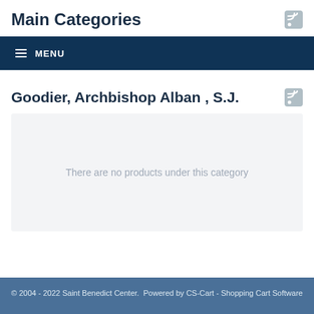Main Categories
MENU
Goodier, Archbishop Alban , S.J.
There are no products under this category
© 2004 - 2022 Saint Benedict Center.  Powered by CS-Cart - Shopping Cart Software